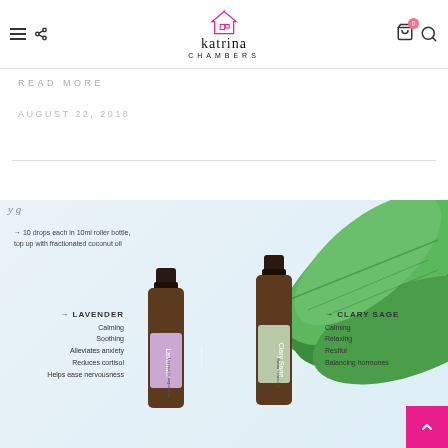katrina CHAMBERS
READ MORE
AUGUST 22, 2018
[Figure (photo): Blog post image showing two doTERRA essential oil bottles (Lavender and Clary Sage) with green tropical leaf background. Text overlay: arrow 10 drops each in 10ml roller bottle, top up with fractionated coconut oil. LAVENDER: Calming, Soothing, Alleviates anxiety, Reduces cortisol, Helps ease nervousness. CLARY SAGE: Calming, Relaxing, Restful, Balancing hormones.]